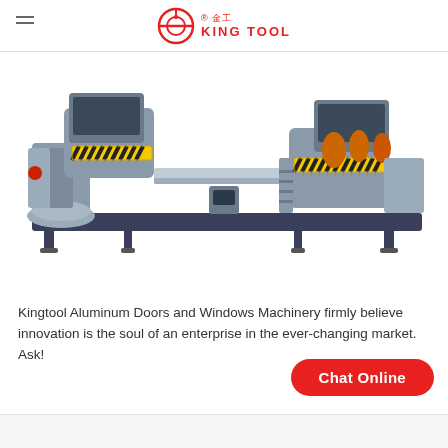KING TOOL 金工
[Figure (photo): Industrial double-head aluminum profile cutting saw machine by Kingtool, featuring two motorized saw heads on a long rail with yellow-black striped safety guards, gray body, and dark blue base frame.]
Kingtool Aluminum Doors and Windows Machinery firmly believe innovation is the soul of an enterprise in the ever-changing market. Ask!
Chat Online